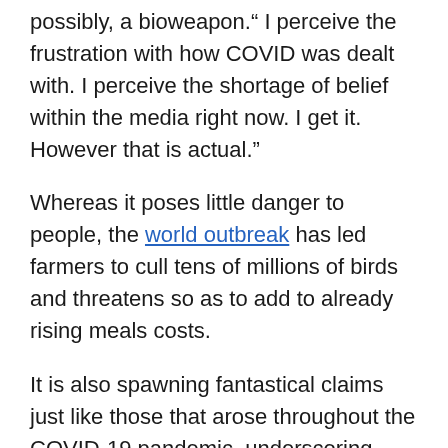possibly, a bioweapon." I perceive the frustration with how COVID was dealt with. I perceive the shortage of belief within the media right now. I get it. However that is actual."
Whereas it poses little danger to people, the world outbreak has led farmers to cull tens of millions of birds and threatens so as to add to already rising meals costs.
It is also spawning fantastical claims just like those that arose throughout the COVID-19 pandemic, underscoring how conspiracy theories usually emerge at instances of uncertainty and the way the web and a deepening Mistrust of science different establishments gas their unfold.